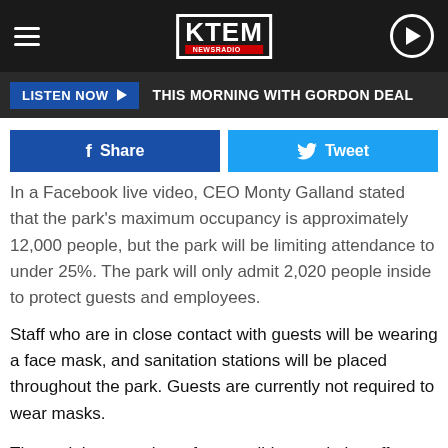KTEM NEWSRADIO
LISTEN NOW ▶  THIS MORNING WITH GORDON DEAL
Share   Tweet
In a Facebook live video, CEO Monty Galland stated that the park's maximum occupancy is approximately 12,000 people, but the park will be limiting attendance to under 25%. The park will only admit 2,020 people inside to protect guests and employees.
Staff who are in close contact with guests will be wearing a face mask, and sanitation stations will be placed throughout the park. Guests are currently not required to wear masks.
The park has a variety of water-slides, and also offers other attractions like: